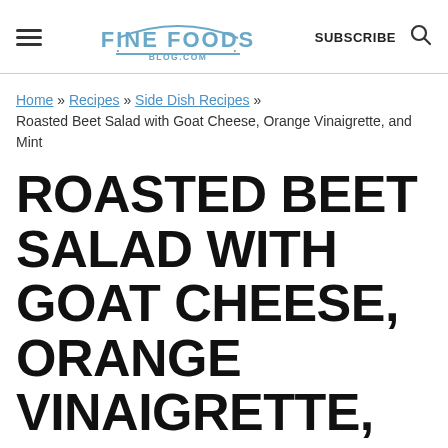FINE FOODS BLOG.COM | SUBSCRIBE
Home » Recipes » Side Dish Recipes » Roasted Beet Salad with Goat Cheese, Orange Vinaigrette, and Mint
ROASTED BEET SALAD WITH GOAT CHEESE, ORANGE VINAIGRETTE, AND MINT
Published: Jul 14, 2020 · Modified: Jul 20